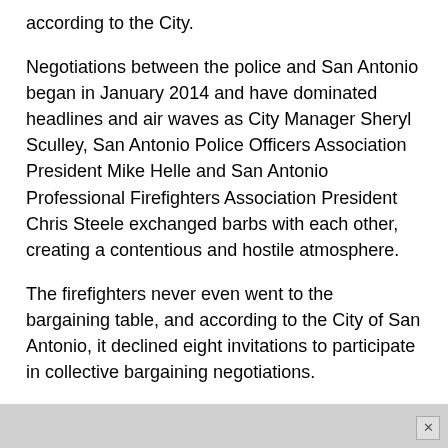according to the City.
Negotiations between the police and San Antonio began in January 2014 and have dominated headlines and air waves as City Manager Sheryl Sculley, San Antonio Police Officers Association President Mike Helle and San Antonio Professional Firefighters Association President Chris Steele exchanged barbs with each other, creating a contentious and hostile atmosphere.
The firefighters never even went to the bargaining table, and according to the City of San Antonio, it declined eight invitations to participate in collective bargaining negotiations.
"A provision of the police and fire contracts provides that, absent a new agreement, the contracts remain in force